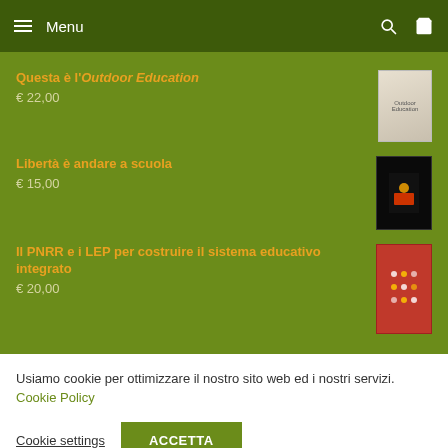Menu
Questa è l'Outdoor Education
€ 22,00
Libertà è andare a scuola
€ 15,00
Il PNRR e i LEP per costruire il sistema educativo integrato
€ 20,00
Usiamo cookie per ottimizzare il nostro sito web ed i nostri servizi. Cookie Policy
Cookie settings
ACCETTA
Cookie Policy